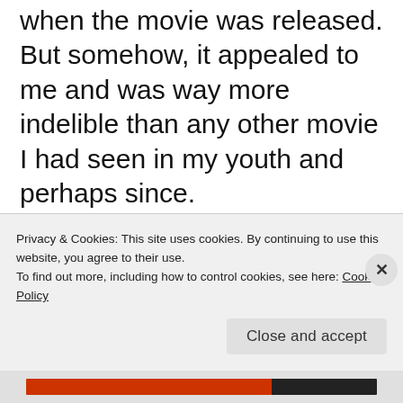when the movie was released. But somehow, it appealed to me and was way more indelible than any other movie I had seen in my youth and perhaps since.
I wish I could find it, but I remember seeing a photo of me in my family album dressed in a Superman outfit that my mother must've bought me. One of my aunts who was living with my family at the time often told me how
Privacy & Cookies: This site uses cookies. By continuing to use this website, you agree to their use.
To find out more, including how to control cookies, see here: Cookie Policy
Close and accept